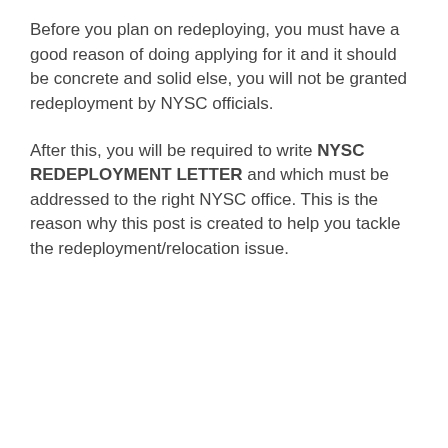Before you plan on redeploying, you must have a good reason of doing applying for it and it should be concrete and solid else, you will not be granted redeployment by NYSC officials.
After this, you will be required to write NYSC REDEPLOYMENT LETTER and which must be addressed to the right NYSC office. This is the reason why this post is created to help you tackle the redeployment/relocation issue.